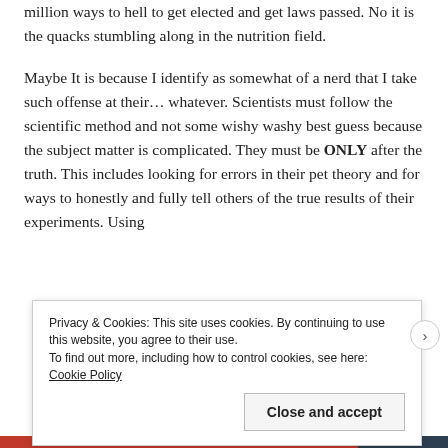million ways to hell to get elected and get laws passed. No it is the quacks stumbling along in the nutrition field.
Maybe It is because I identify as somewhat of a nerd that I take such offense at their... whatever. Scientists must follow the scientific method and not some wishy washy best guess because the subject matter is complicated. They must be ONLY after the truth. This includes looking for errors in their pet theory and for ways to honestly and fully tell others of the true results of their experiments. Using
Privacy & Cookies: This site uses cookies. By continuing to use this website, you agree to their use.
To find out more, including how to control cookies, see here: Cookie Policy
Close and accept